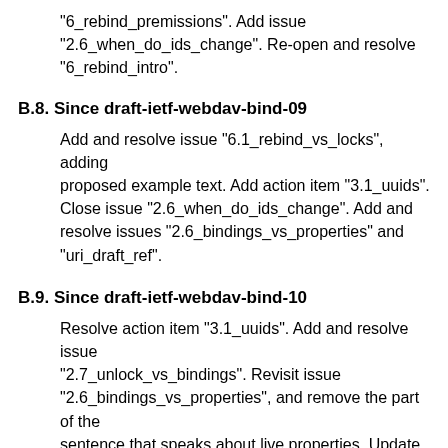"6_rebind_premissions". Add issue "2.6_when_do_ids_change". Re-open and resolve "6_rebind_intro".
B.8. Since draft-ietf-webdav-bind-09
Add and resolve issue "6.1_rebind_vs_locks", adding proposed example text. Add action item "3.1_uuids". Close issue "2.6_when_do_ids_change". Add and resolve issues "2.6_bindings_vs_properties" and "uri_draft_ref".
B.9. Since draft-ietf-webdav-bind-10
Resolve action item "3.1_uuids". Add and resolve issue "2.7_unlock_vs_bindings". Revisit issue "2.6_bindings_vs_properties", and remove the part of the sentence that speaks about live properties. Update "rfc2396bis" references to "RFC3986". Add issue